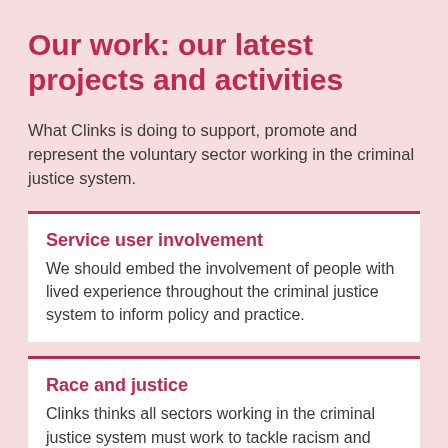Our work: our latest projects and activities
What Clinks is doing to support, promote and represent the voluntary sector working in the criminal justice system.
Service user involvement
We should embed the involvement of people with lived experience throughout the criminal justice system to inform policy and practice.
Race and justice
Clinks thinks all sectors working in the criminal justice system must work to tackle racism and